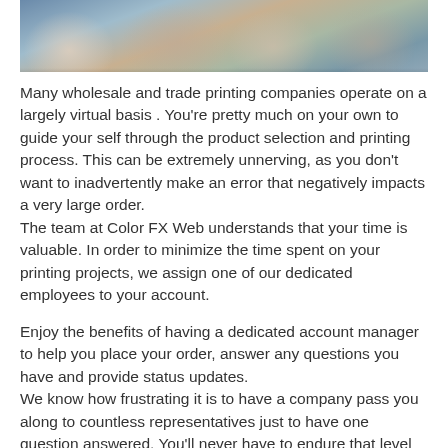[Figure (photo): Group of business professionals smiling, partially cropped at top of page]
Many wholesale and trade printing companies operate on a largely virtual basis . You're pretty much on your own to guide your self through the product selection and printing process. This can be extremely unnerving, as you don't want to inadvertently make an error that negatively impacts a very large order.
The team at Color FX Web understands that your time is valuable. In order to minimize the time spent on your printing projects, we assign one of our dedicated employees to your account.
Enjoy the benefits of having a dedicated account manager to help you place your order, answer any questions you have and provide status updates.
We know how frustrating it is to have a company pass you along to countless representatives just to have one question answered. You'll never have to endure that level of redundancy or feel like you're wasting your time with us.
It's our goal to provide you with an outstanding customer experience, so we can enjoy a long term working